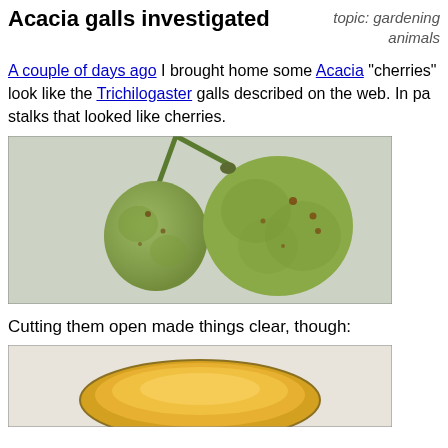Acacia galls investigated
topic: gardening animals
A couple of days ago I brought home some Acacia "cherries" look like the Trichilogaster galls described on the web. In pa stalks that looked like cherries.
[Figure (photo): Two green acacia galls resembling cherries on stalks, photographed on a white/grey speckled background.]
Cutting them open made things clear, though:
[Figure (photo): Close-up of a cut-open acacia gall showing orange interior, photographed on white background.]